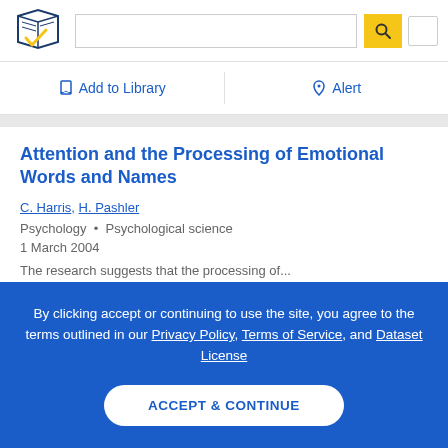[Figure (logo): Semantic Scholar logo — stylized book pages with blue and gold checkmark]
Add to Library
Alert
Attention and the Processing of Emotional Words and Names
C. Harris, H. Pashler
Psychology · Psychological science
1 March 2004
By clicking accept or continuing to use the site, you agree to the terms outlined in our Privacy Policy, Terms of Service, and Dataset License
ACCEPT & CONTINUE